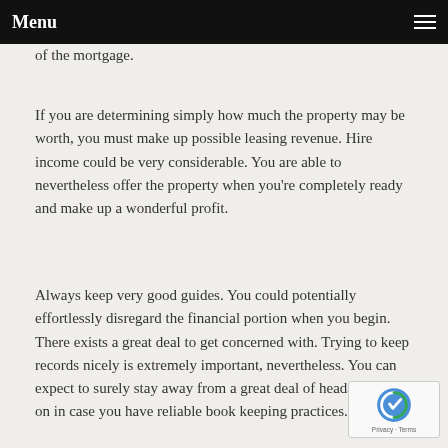Menu
of the mortgage.
If you are determining simply how much the property may be worth, you must make up possible leasing revenue. Hire income could be very considerable. You are able to nevertheless offer the property when you're completely ready and make up a wonderful profit.
Always keep very good guides. You could potentially effortlessly disregard the financial portion when you begin. There exists a great deal to get concerned with. Trying to keep records nicely is extremely important, nevertheless. You can expect to surely stay away from a great deal of headache later on in case you have reliable book keeping practices.